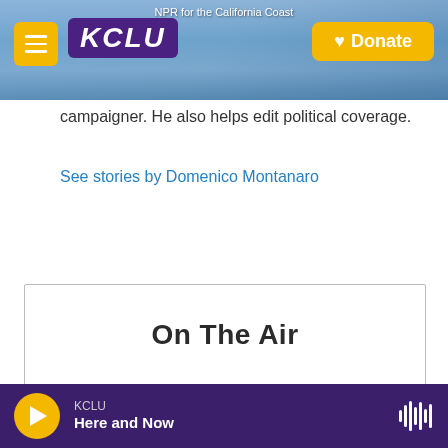NPR for the California Coast — KCLU — Donate
campaigner. He also helps edit political coverage.
See stories by Domenico Montanaro
On The Air
Here and Now 11:00 AM–1:00 PM
KCLU — Here and Now